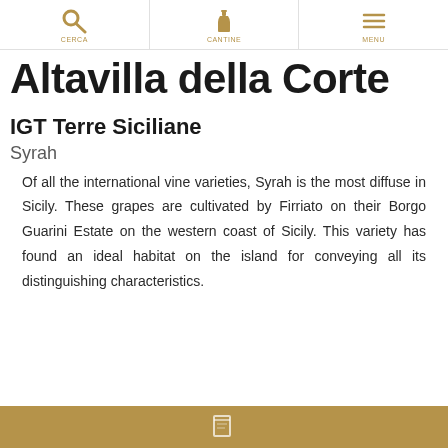CERCA | CANTINE | MENU
Altavilla della Corte
IGT Terre Siciliane
Syrah
Of all the international vine varieties, Syrah is the most diffuse in Sicily. These grapes are cultivated by Firriato on their Borgo Guarini Estate on the western coast of Sicily. This variety has found an ideal habitat on the island for conveying all its distinguishing characteristics.
[Figure (other): Gold/tan colored bottom bar with a document/file icon in the center]